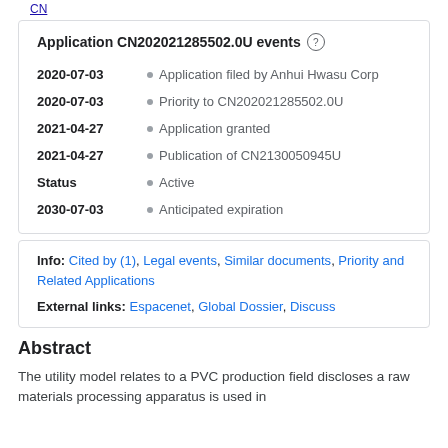Application CN202021285502.0U events
2020-07-03 • Application filed by Anhui Hwasu Corp
2020-07-03 • Priority to CN202021285502.0U
2021-04-27 • Application granted
2021-04-27 • Publication of CN2130050945U
Status • Active
2030-07-03 • Anticipated expiration
Info: Cited by (1), Legal events, Similar documents, Priority and Related Applications
External links: Espacenet, Global Dossier, Discuss
Abstract
The utility model relates to a PVC production field discloses a raw materials processing apparatus is used in